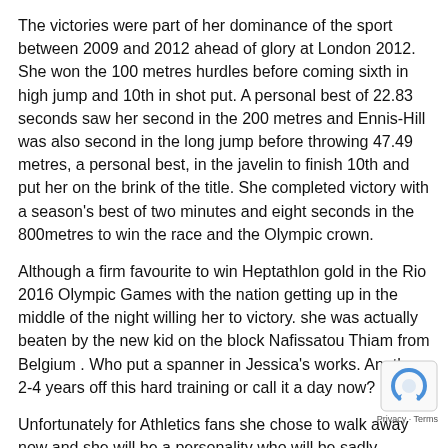The victories were part of her dominance of the sport between 2009 and 2012 ahead of glory at London 2012. She won the 100 metres hurdles before coming sixth in high jump and 10th in shot put. A personal best of 22.83 seconds saw her second in the 200 metres and Ennis-Hill was also second in the long jump before throwing 47.49 metres, a personal best, in the javelin to finish 10th and put her on the brink of the title. She completed victory with a season's best of two minutes and eight seconds in the 800metres to win the race and the Olympic crown.
Although a firm favourite to win Heptathlon gold in the Rio 2016 Olympic Games with the nation getting up in the middle of the night willing her to victory. she was actually beaten by the new kid on the block Nafissatou Thiam from Belgium . Who put a spanner in Jessica's works. Another 2-4 years off this hard training or call it a day now?
Unfortunately for Athletics fans she chose to walk away now and she will be a personality who will be sadly missed. I have seen Jessica perform at the Anniversary Games and was very lucky to meet her own book signing event where she kindly signed her name in her to w… “Father Christmas” gave to my daughter. You will ha… many memories of Jessica Performing and I do too… biggest memory is seeing my daughter open Jessica's
[Figure (logo): reCAPTCHA logo and Privacy - Terms text]